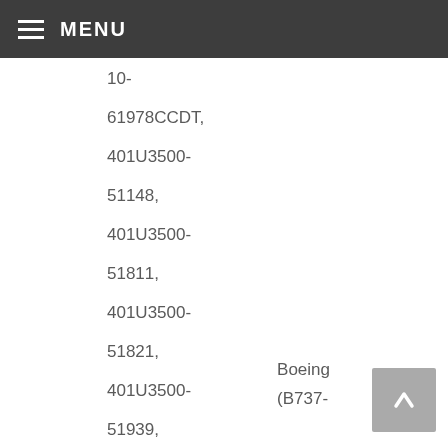MENU
10-
61978CCDT,
401U3500-51148,
401U3500-51811,
401U3500-51821,
401U3500-51939,
401U3500-51947,
401U3500-51967,
401U3500-
Boeing
(B737-